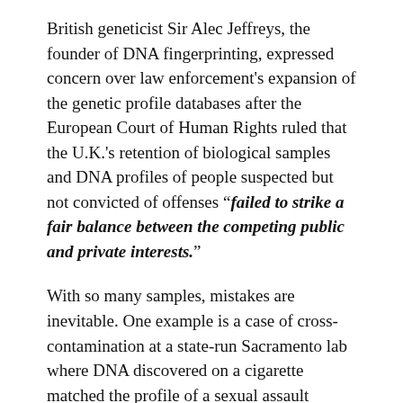British geneticist Sir Alec Jeffreys, the founder of DNA fingerprinting, expressed concern over law enforcement's expansion of the genetic profile databases after the European Court of Human Rights ruled that the U.K.'s retention of biological samples and DNA profiles of people suspected but not convicted of offenses "failed to strike a fair balance between the competing public and private interests."
With so many samples, mistakes are inevitable. One example is a case of cross-contamination at a state-run Sacramento lab where DNA discovered on a cigarette matched the profile of a sexual assault victim from another case. A match resulted from the cigarette being processed close to the victim's vaginal sample, picking up other DNA. Another possible source of error is the increased sensitivity of DNA equipment, raising the possibility of trace amounts of DNA being found at a scene for someone